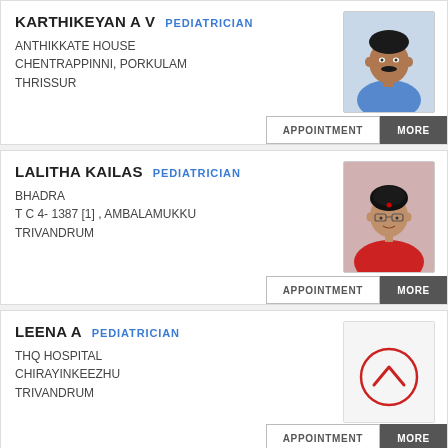KARTHIKEYAN A V  PEDIATRICIAN
ANTHIKKATE HOUSE
CHENTRAPPINNI, PORKULAM
THRISSUR
[Figure (photo): Photo of male doctor Karthikeyan A V]
APPOINTMENT  MORE
LALITHA KAILAS  PEDIATRICIAN
BHADRA
T C 4- 1387 [1] , AMBALAMUKKU
TRIVANDRUM
[Figure (photo): Photo of female doctor Lalitha Kailas]
APPOINTMENT  MORE
LEENA A  PEDIATRICIAN
THQ HOSPITAL
CHIRAYINKEEZHU
TRIVANDRUM
[Figure (illustration): Scroll-to-top circle icon with chevron]
APPOINTMENT  MORE